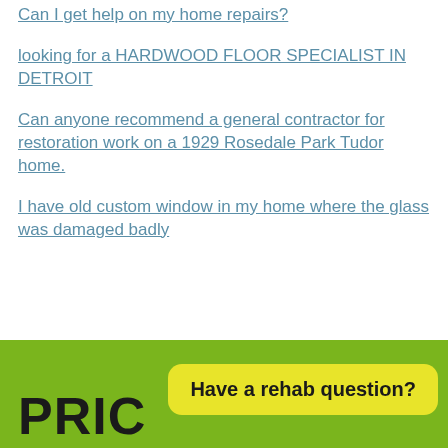Can I get help on my home repairs?
looking for a HARDWOOD FLOOR SPECIALIST IN DETROIT
Can anyone recommend a general contractor for restoration work on a 1929 Rosedale Park Tudor home.
I have old custom window in my home where the glass was damaged badly
Have a rehab question?
PRIC